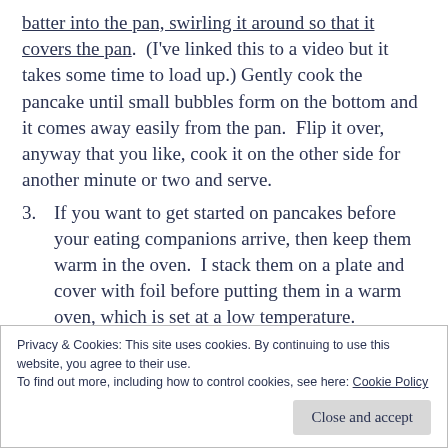batter into the pan, swirling it around so that it covers the pan.  (I've linked this to a video but it takes some time to load up.) Gently cook the pancake until small bubbles form on the bottom and it comes away easily from the pan.  Flip it over, anyway that you like, cook it on the other side for another minute or two and serve.
3. If you want to get started on pancakes before your eating companions arrive, then keep them warm in the oven.  I stack them on a plate and cover with foil before putting them in a warm oven, which is set at a low temperature.
Privacy & Cookies: This site uses cookies. By continuing to use this website, you agree to their use.
To find out more, including how to control cookies, see here: Cookie Policy